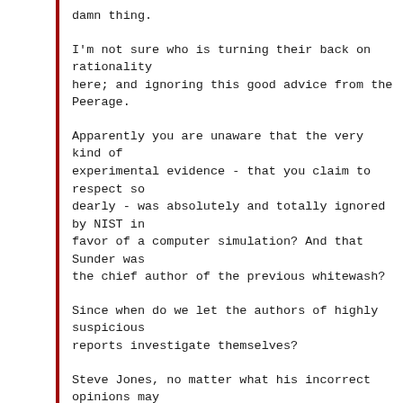damn thing.
I'm not sure who is turning their back on rationality here; and ignoring this good advice from the Peerage.
Apparently you are unaware that the very kind of experimental evidence - that you claim to respect so dearly - was absolutely and totally ignored by NIST in favor of a computer simulation? And that Sunder was the chief author of the previous whitewash?
Since when do we let the authors of highly suspicious reports investigate themselves?
Steve Jones, no matter what his incorrect opinions may